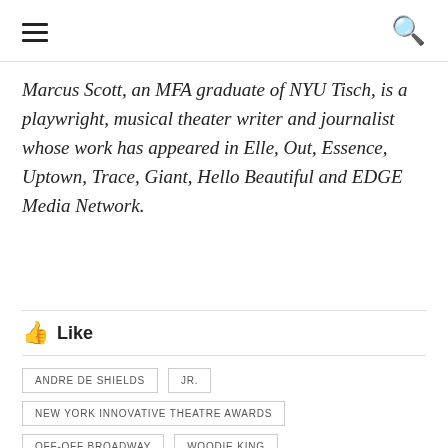☰ 🔍
Marcus Scott, an MFA graduate of NYU Tisch, is a playwright, musical theater writer and journalist whose work has appeared in Elle, Out, Essence, Uptown, Trace, Giant, Hello Beautiful and EDGE Media Network.
👍 Like
ANDRE DE SHIELDS
JR.
NEW YORK INNOVATIVE THEATRE AWARDS
OFF-OFF BROADWAY
WOODIE KING